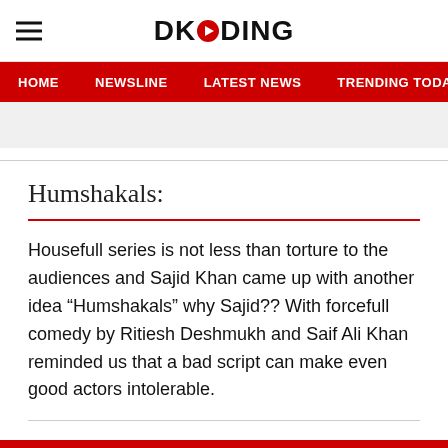DKODING
HOME   NEWSLINE   LATEST NEWS   TRENDING TODAY   ENT
Humshakals:
Housefull series is not less than torture to the audiences and Sajid Khan came up with another idea “Humshakals” why Sajid?? With forcefull comedy by Ritiesh Deshmukh and Saif Ali Khan reminded us that a bad script can make even good actors intolerable.